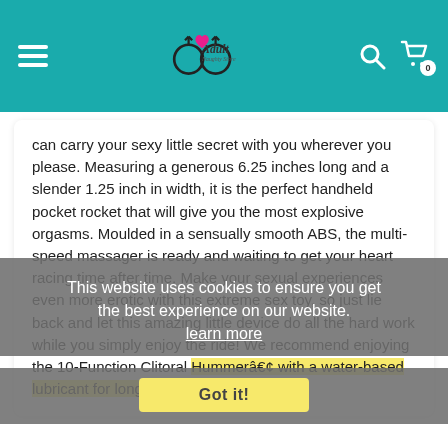Adult Naughty Store — navigation header with logo, hamburger menu, search icon, and cart icon (0 items)
can carry your sexy little secret with you wherever you please. Measuring a generous 6.25 inches long and a slender 1.25 inch in width, it is the perfect handheld pocket rocket that will give you the most explosive orgasms. Moulded in a sensually smooth ABS, the multi-speed massager is ready and waiting to get your heart racing time after time. Make your sexual experiences even more erotic with this extreme sex toy, so just lie back and let this amazing little device do all the hard work while you simply enjoy the ride! We recommend enjoying the 10-Function Clitoral Hummerâ€¢ with a water-based lubricant for long lasting satisfaction.
This website uses cookies to ensure you get the best experience on our website. learn more
Got it!